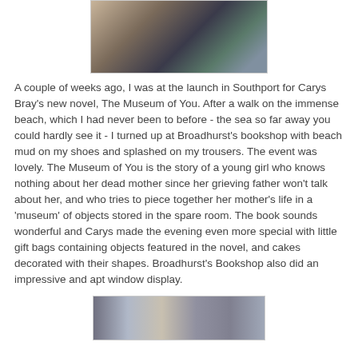[Figure (photo): Top portion of a photo showing people in a bookshop setting, partially cropped]
A couple of weeks ago, I was at the launch in Southport for Carys Bray's new novel, The Museum of You. After a walk on the immense beach, which I had never been to before - the sea so far away you could hardly see it - I turned up at Broadhurst's bookshop with beach mud on my shoes and splashed on my trousers. The event was lovely. The Museum of You is the story of a young girl who knows nothing about her dead mother since her grieving father won't talk about her, and who tries to piece together her mother's life in a 'museum' of objects stored in the spare room. The book sounds wonderful and Carys made the evening even more special with little gift bags containing objects featured in the novel, and cakes decorated with their shapes. Broadhurst's Bookshop also did an impressive and apt window display.
[Figure (photo): Bottom portion of a photo showing a bookshop window display, partially cropped]